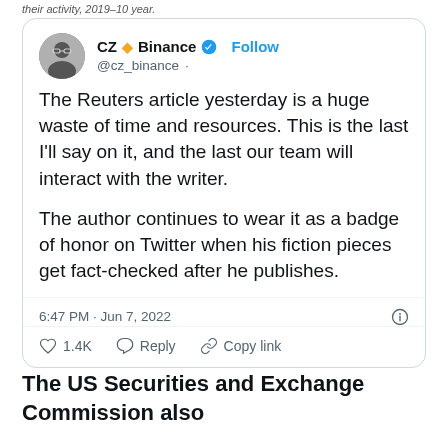[Figure (screenshot): A Twitter/X tweet from CZ (Changpeng Zhao) of Binance (@cz_binance), verified account. Tweet reads: 'The Reuters article yesterday is a huge waste of time and resources. This is the last I'll say on it, and the last our team will interact with the writer. The author continues to wear it as a badge of honor on Twitter when his fiction pieces get fact-checked after he publishes.' Posted at 6:47 PM · Jun 7, 2022. Shows 1.4K likes, Reply and Copy link actions. 'Read 3 replies' button.]
The US Securities and Exchange Commission also